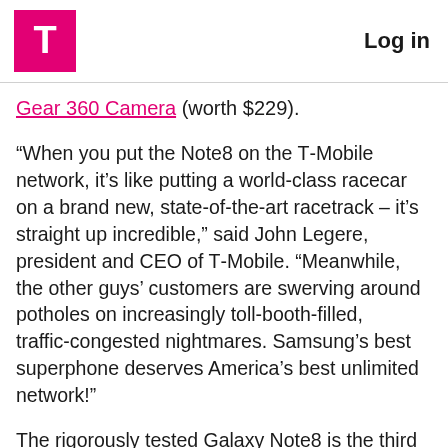T-Mobile | Log in
Gear 360 Camera (worth $229).
“When you put the Note8 on the T-Mobile network, it’s like putting a world-class racecar on a brand new, state-of-the-art racetrack – it’s straight up incredible,” said John Legere, president and CEO of T-Mobile. “Meanwhile, the other guys’ customers are swerving around potholes on increasingly toll-booth-filled, traffic-congested nightmares. Samsung’s best superphone deserves America’s best unlimited network!”
The rigorously tested Galaxy Note8 is the third gigabit-class phone to launch at T-Mobile. And America’s best unlimited network just keeps getting better! Since the